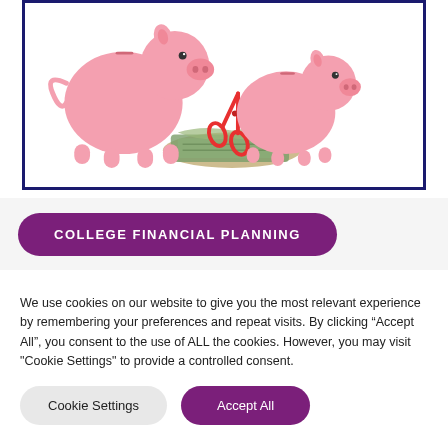[Figure (photo): Two pink piggy banks with US dollar bills and red scissors between them, on a white background, inside a dark navy border box.]
COLLEGE FINANCIAL PLANNING
We use cookies on our website to give you the most relevant experience by remembering your preferences and repeat visits. By clicking “Accept All”, you consent to the use of ALL the cookies. However, you may visit "Cookie Settings" to provide a controlled consent.